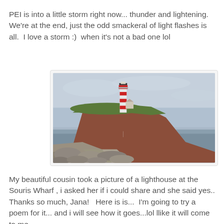PEI is into a little storm right now... thunder and lightening.  We're at the end, just the odd smackeral of light flashes is all.  I love a storm :)  when it's not a bad one lol
[Figure (photo): A lighthouse with red and white stripes sits atop a red clay cliff/headland with green grass, overlooking rocky shoreline and calm grey-blue sea water. Overcast sky in background.]
My beautiful cousin took a picture of a lighthouse at the Souris Wharf , i asked her if i could share and she said yes..  Thanks so much, Jana!   Here is is...  I'm going to try a poem for it... and i will see how it goes...lol llike it will come to me